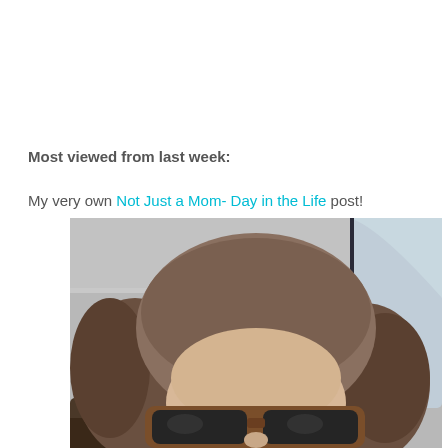Most viewed from last week:
My very own Not Just a Mom- Day in the Life post!
[Figure (photo): Selfie photo of a person in a car wearing tortoiseshell sunglasses, with wavy brown hair, taken from above showing mostly forehead and top of head. Car interior visible with ceiling and window on the right side.]